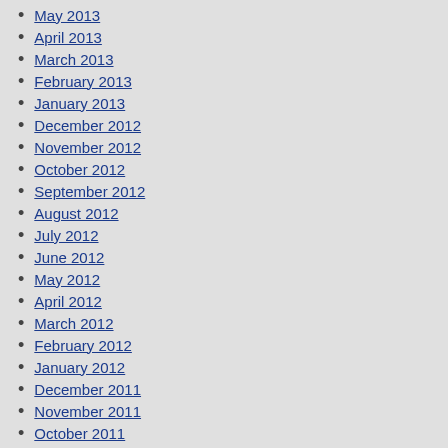May 2013
April 2013
March 2013
February 2013
January 2013
December 2012
November 2012
October 2012
September 2012
August 2012
July 2012
June 2012
May 2012
April 2012
March 2012
February 2012
January 2012
December 2011
November 2011
October 2011
September 2011
August 2011
July 2011